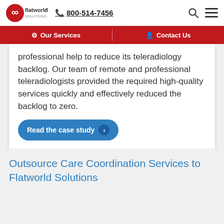[Figure (logo): Flatworld Solutions logo with infinity symbol in red circle]
📞 800-514-7456
Our Services | Contact Us
professional help to reduce its teleradiology backlog. Our team of remote and professional teleradiologists provided the required high-quality services quickly and effectively reduced the backlog to zero.
Read the case study ›
Outsource Care Coordination Services to Flatworld Solutions